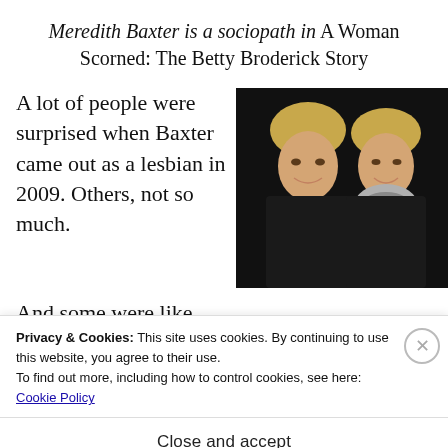Meredith Baxter is a sociopath in A Woman Scorned: The Betty Broderick Story
A lot of people were surprised when Baxter came out as a lesbian in 2009. Others, not so much. And some were like...
[Figure (photo): Two smiling women with short blonde hair posed together against a dark background. Both wearing dark tops; one has a grey/white scarf.]
Privacy & Cookies: This site uses cookies. By continuing to use this website, you agree to their use.
To find out more, including how to control cookies, see here:
Cookie Policy
Close and accept